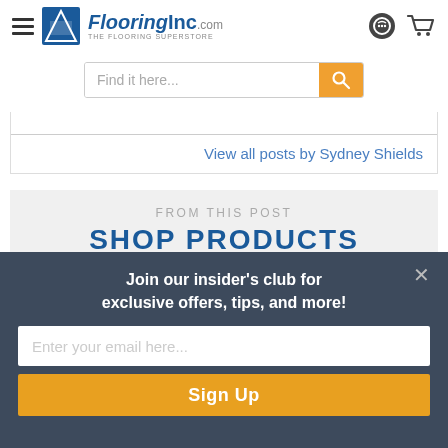[Figure (logo): FlooringInc.com logo with hamburger menu icon on the left and shopping cart and chat icons on the right]
[Figure (screenshot): Search bar with placeholder text 'Find it here...' and orange search button]
View all posts by Sydney Shields
FROM THIS POST
SHOP PRODUCTS
Join our insider's club for exclusive offers, tips, and more!
[Figure (screenshot): Email input field with placeholder 'Enter your email here...']
Sign Up